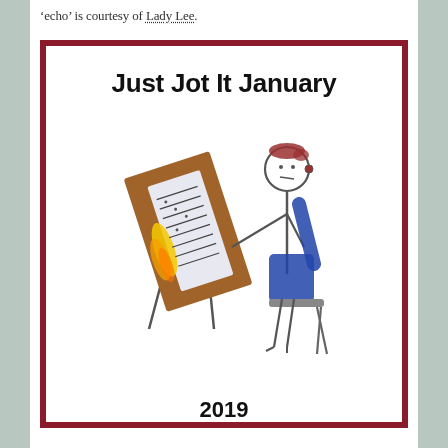'echo' is courtesy of Lady Lee.
[Figure (illustration): Illustration with a dark red border showing a stick figure person with reddish hair sitting on a chair, reaching toward a tilted brown easel/board with a paper on it. The paper has small writing and a yellow/orange flame-like decoration on the left side of the easel. The title reads 'Just Jot It January' at the top and '2019' at the bottom.]